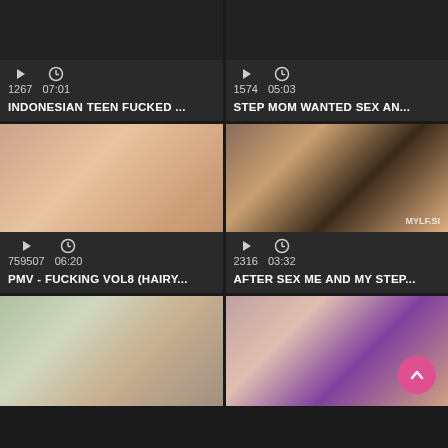[Figure (screenshot): Video thumbnail grid showing adult video website with 6 video cards in 2-column layout. Top row: two dark cards with play/clock icons, view counts (1267, 07:01) and (1574, 05:03), titles truncated. Middle row: two video thumbnails with meta info (759507, 06:20) and (2316, 03:32), titles truncated. Bottom row: two partially visible thumbnails.]